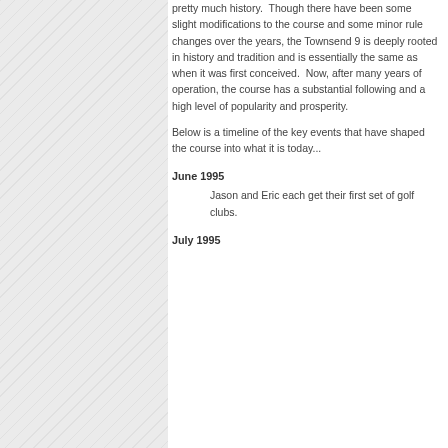pretty much history. Though there have been some slight modifications to the course and some minor rule changes over the years, the Townsend 9 is deeply rooted in history and tradition and is essentially the same as when it was first conceived. Now, after many years of operation, the course has a substantial following and a high level of popularity and prosperity.
Below is a timeline of the key events that have shaped the course into what it is today...
June 1995
Jason and Eric each get their first set of golf clubs.
July 1995